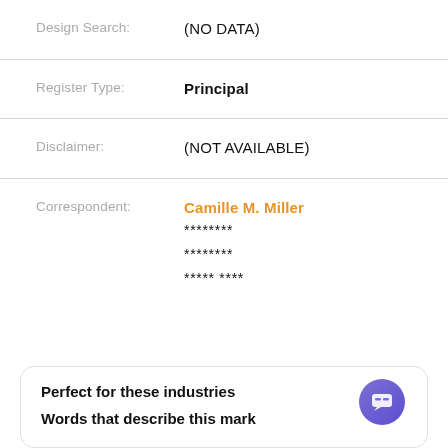Design Search: (NO DATA)
Register Type: Principal
Disclaimer: (NOT AVAILABLE)
Correspondent: Camille M. Miller
********
********
***** ****
Perfect for these industries
Words that describe this mark